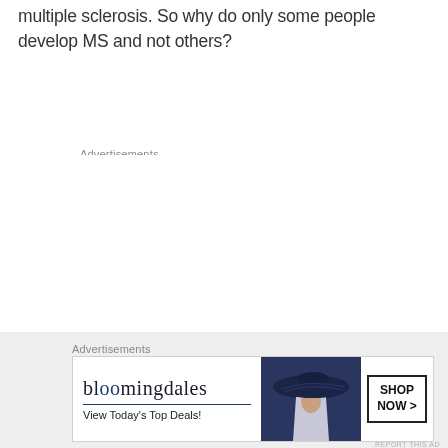multiple sclerosis. So why do only some people develop MS and not others?
Advertisements
REPORT THIS AD
Advertisements
[Figure (screenshot): Bloomingdales advertisement banner with logo, 'View Today's Top Deals!' tagline, woman in wide-brim hat image, and 'SHOP NOW >' button]
REPORT THIS AD